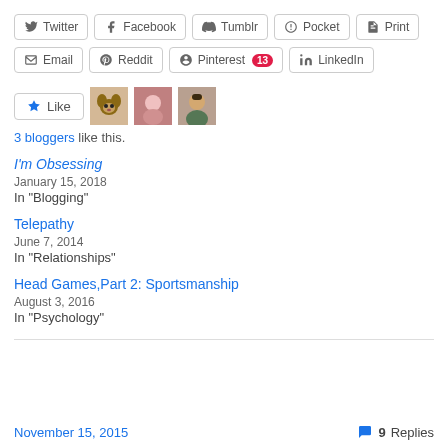[Figure (screenshot): Social share buttons row 1: Twitter, Facebook, Tumblr, Pocket, Print]
[Figure (screenshot): Social share buttons row 2: Email, Reddit, Pinterest (13), LinkedIn]
[Figure (screenshot): Like button with 3 blogger avatar thumbnails]
3 bloggers like this.
I'm Obsessing
January 15, 2018
In "Blogging"
Telepathy
June 7, 2014
In "Relationships"
Head Games,Part 2: Sportsmanship
August 3, 2016
In "Psychology"
November 15, 2015   9 Replies